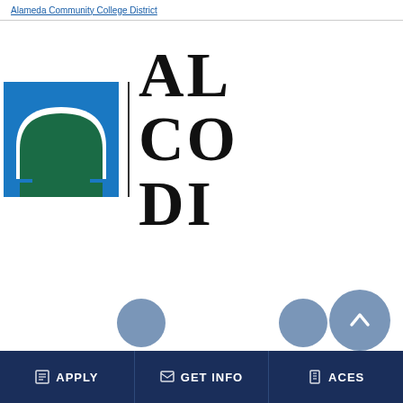Alameda Community College District
[Figure (logo): Alameda Community College District logo: blue square with white arch and green building silhouette, beside vertical bar and large serif letters AL CO DIS]
APPLY   GET INFO   ACES